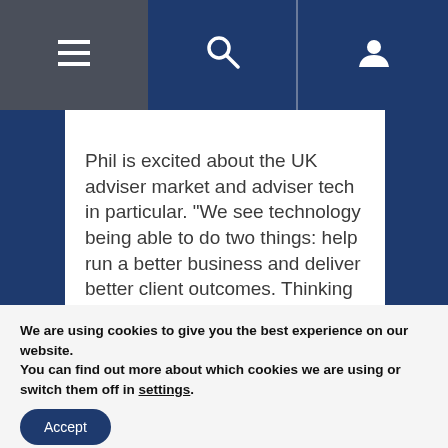[Figure (screenshot): Website navigation bar with hamburger menu icon on dark grey background (left), search icon and user icon on navy blue background (center and right), separated by a vertical line.]
Phil is excited about the UK adviser market and adviser tech in particular. “We see technology being able to do two things: help run a better business and deliver better client outcomes. Thinking
We are using cookies to give you the best experience on our website.
You can find out more about which cookies we are using or switch them off in settings.